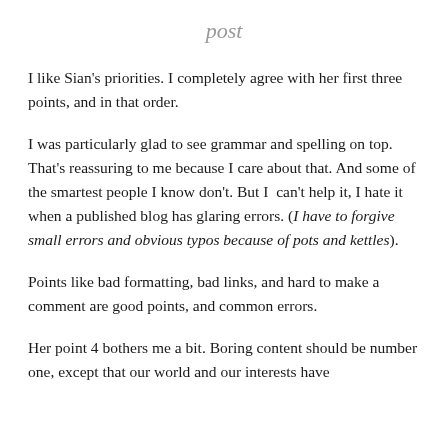post
I like Sian’s priorities. I completely agree with her first three points, and in that order.
I was particularly glad to see grammar and spelling on top. That’s reassuring to me because I care about that. And some of the smartest people I know don’t. But I  can’t help it, I hate it when a published blog has glaring errors. (I have to forgive small errors and obvious typos because of pots and kettles).
Points like bad formatting, bad links, and hard to make a comment are good points, and common errors.
Her point 4 bothers me a bit. Boring content should be number one, except that our world and our interests have